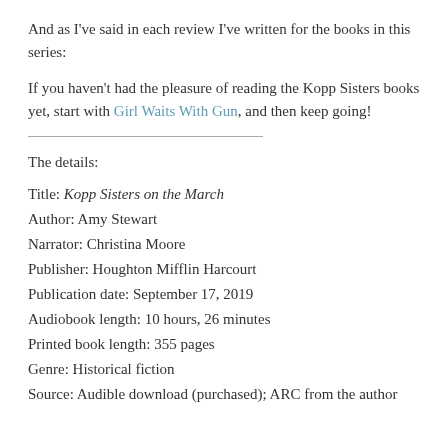And as I've said in each review I've written for the books in this series:
If you haven't had the pleasure of reading the Kopp Sisters books yet, start with Girl Waits With Gun, and then keep going!
The details:
Title: Kopp Sisters on the March
Author: Amy Stewart
Narrator: Christina Moore
Publisher: Houghton Mifflin Harcourt
Publication date: September 17, 2019
Audiobook length: 10 hours, 26 minutes
Printed book length: 355 pages
Genre: Historical fiction
Source: Audible download (purchased); ARC from the author